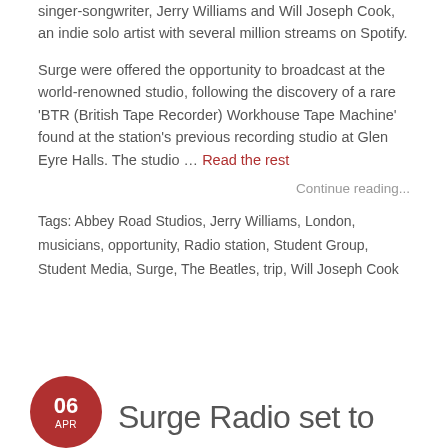singer-songwriter, Jerry Williams and Will Joseph Cook, an indie solo artist with several million streams on Spotify.
Surge were offered the opportunity to broadcast at the world-renowned studio, following the discovery of a rare 'BTR (British Tape Recorder) Workhouse Tape Machine' found at the station's previous recording studio at Glen Eyre Halls. The studio … Read the rest
Continue reading...
Tags: Abbey Road Studios, Jerry Williams, London, musicians, opportunity, Radio station, Student Group, Student Media, Surge, The Beatles, trip, Will Joseph Cook
06 APR
Surge Radio set to